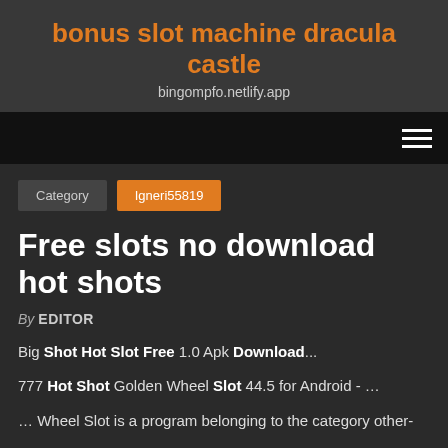bonus slot machine dracula castle
bingompfo.netlify.app
Category  Igneri55819
Free slots no download hot shots
By EDITOR
Big Shot Hot Slot Free 1.0 Apk Download...
777 Hot Shot Golden Wheel Slot 44.5 for Android - ...
... Wheel Slot is a program belonging to the category other-